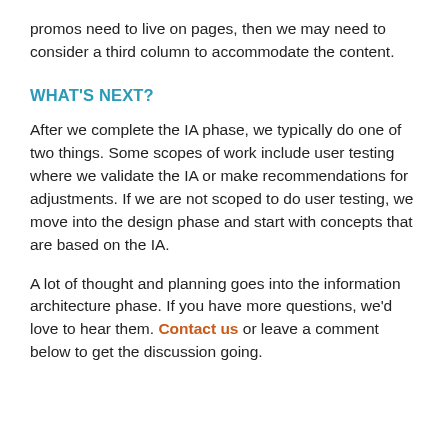promos need to live on pages, then we may need to consider a third column to accommodate the content.
WHAT'S NEXT?
After we complete the IA phase, we typically do one of two things. Some scopes of work include user testing where we validate the IA or make recommendations for adjustments. If we are not scoped to do user testing, we move into the design phase and start with concepts that are based on the IA.
A lot of thought and planning goes into the information architecture phase. If you have more questions, we’d love to hear them. Contact us or leave a comment below to get the discussion going.